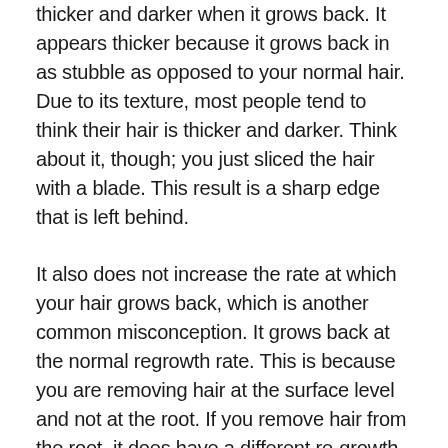thicker and darker when it grows back. It appears thicker because it grows back in as stubble as opposed to your normal hair. Due to its texture, most people tend to think their hair is thicker and darker. Think about it, though; you just sliced the hair with a blade. This result is a sharp edge that is left behind.
It also does not increase the rate at which your hair grows back, which is another common misconception. It grows back at the normal regrowth rate. This is because you are removing hair at the surface level and not at the root. If you remove hair from the root, it does have a different re-growth time because it takes longer to start growing again. You do not have to worry about shaving having any of these effects on your hair, but it is still such an annoying thing to have to do.